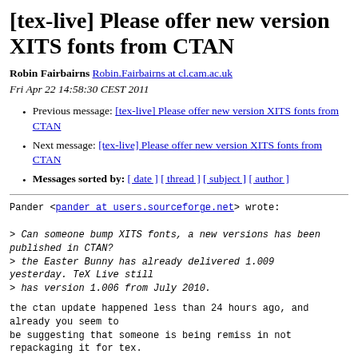[tex-live] Please offer new version XITS fonts from CTAN
Robin Fairbairns Robin.Fairbairns at cl.cam.ac.uk
Fri Apr 22 14:58:30 CEST 2011
Previous message: [tex-live] Please offer new version XITS fonts from CTAN
Next message: [tex-live] Please offer new version XITS fonts from CTAN
Messages sorted by: [ date ] [ thread ] [ subject ] [ author ]
Pander <pander at users.sourceforge.net> wrote:

> Can someone bump XITS fonts, a new versions has been published in CTAN?
> the Easter Bunny has already delivered 1.009 yesterday. TeX Live still
> has version 1.006 from July 2010.

the ctan update happened less than 24 hours ago, and already you seem to
be suggesting that someone is being remiss in not repackaging it for tex.